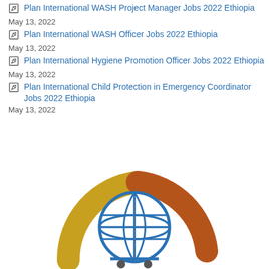Plan International WASH Project Manager Jobs 2022 Ethiopia
May 13, 2022
Plan International WASH Officer Jobs 2022 Ethiopia
May 13, 2022
Plan International Hygiene Promotion Officer Jobs 2022 Ethiopia
May 13, 2022
Plan International Child Protection in Emergency Coordinator Jobs 2022 Ethiopia
May 13, 2022
[Figure (logo): Plan International logo: globe with grid lines in blue, two figures below, arching swooshes in gold/yellow and brown/orange above]